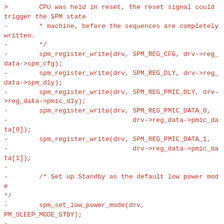>        CPU was held in reset, the reset signal could trigger the SPM state
-        * machine, before the sequences are completely written.
-        */
-        spm_register_write(drv, SPM_REG_CFG, drv->reg_data->spm_cfg);
-        spm_register_write(drv, SPM_REG_DLY, drv->reg_data->spm_dly);
-        spm_register_write(drv, SPM_REG_PMIC_DLY, drv->reg_data->pmic_dly);
-        spm_register_write(drv, SPM_REG_PMIC_DATA_0,
-                                drv->reg_data->pmic_data[0]);
-        spm_register_write(drv, SPM_REG_PMIC_DATA_1,
-                                drv->reg_data->pmic_data[1]);
-
-        /* Set up Standby as the default low power mode */
-        spm_set_low_power_mode(drv, PM_SLEEP_MODE_STBY);
-
-        return cpuidle_register(&drv->cpuidle_driver, NULL);
-}
-
-static int spm_dev_remove(struct platform_device *pdev)
-{
-        struct spm_driver_data *drv =